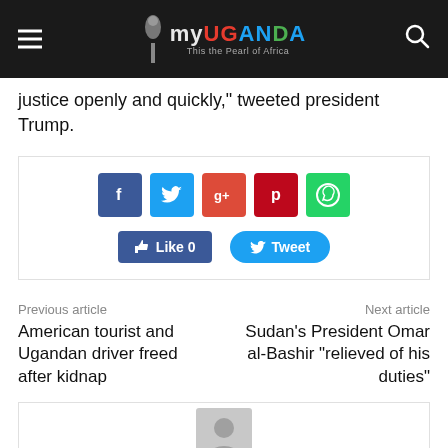MyUganda – This the Pearl of Africa
justice openly and quickly," tweeted president Trump.
[Figure (infographic): Social share buttons: Facebook, Twitter, Google+, Pinterest, WhatsApp icons; Like 0 and Tweet buttons]
Previous article
American tourist and Ugandan driver freed after kidnap
Next article
Sudan's President Omar al-Bashir "relieved of his duties"
[Figure (photo): Grey placeholder avatar image at bottom of page]